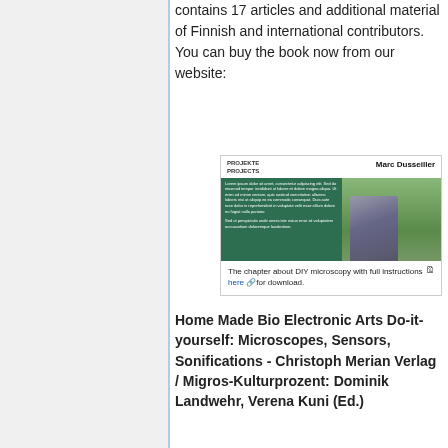contains 17 articles and additional material of Finnish and international contributors. You can buy the book now from our website:
[Figure (photo): Book chapter image showing a man sitting outdoors next to a tree stump, with green article text panel. Header reads 'PROJEKTE PROJECTS' and 'Marc Dusseiller'. Caption below reads 'The chapter about DIY microscopy with full instructions here for download.']
The chapter about DIY microscopy with full instructions here for download.
Home Made Bio Electronic Arts Do-it-yourself: Microscopes, Sensors, Sonifications - Christoph Merian Verlag / Migros-Kulturprozent: Dominik Landwehr, Verena Kuni (Ed.)